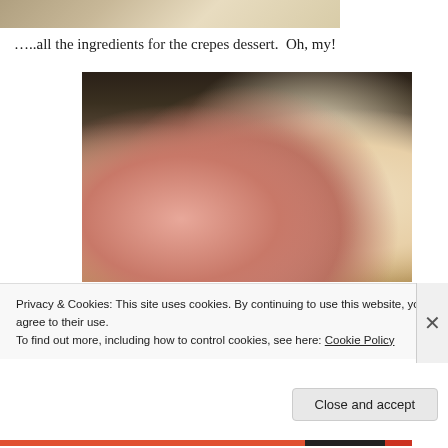[Figure (photo): Partial view of food preparation area with ingredients on a counter]
…..all the ingredients for the crepes dessert.  Oh, my!
[Figure (photo): Person preparing crepes dessert in a kitchen, with a bowl of pink cream filling, crepes on cutting board, blueberries, and various ingredients on the counter]
Privacy & Cookies: This site uses cookies. By continuing to use this website, you agree to their use.
To find out more, including how to control cookies, see here: Cookie Policy
Close and accept